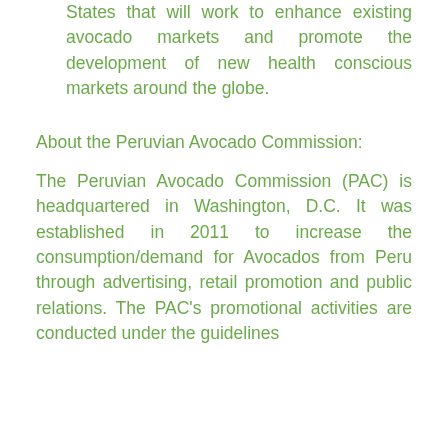States that will work to enhance existing avocado markets and promote the development of new health conscious markets around the globe.
About the Peruvian Avocado Commission:
The Peruvian Avocado Commission (PAC) is headquartered in Washington, D.C. It was established in 2011 to increase the consumption/demand for Avocados from Peru through advertising, retail promotion and public relations. The PAC's promotional activities are conducted under the guidelines